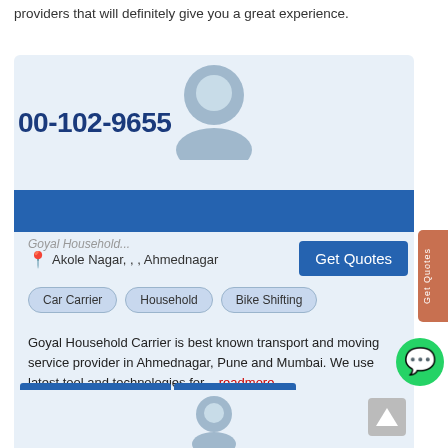providers that will definitely give you a great experience.
00-102-9655
Goyal Household,
Akole Nagar,, , Ahmednagar
Car Carrier
Household
Bike Shifting
Goyal Household Carrier is best known transport and moving service provider in Ahmednagar, Pune and Mumbai. We use latest tool and technologies for ...readmore
GET BEST QUOTES
VIEW PROFILE